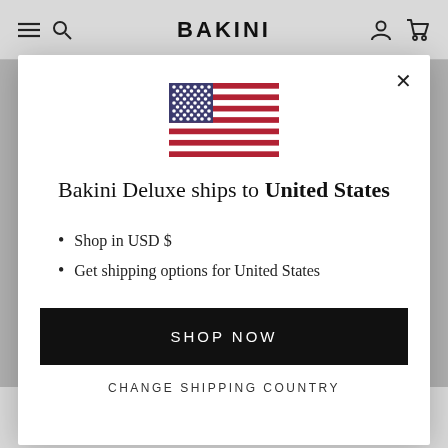BAKINI
[Figure (illustration): US flag illustration shown inside modal popup]
Bakini Deluxe ships to United States
Shop in USD $
Get shipping options for United States
SHOP NOW
CHANGE SHIPPING COUNTRY
proposals, whether oral or written, between you and us (including, but not limited to, any prior versions of the Terms of